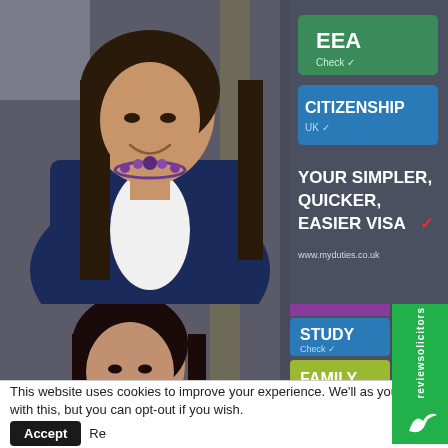[Figure (photo): Top photo: A woman with long dark hair wearing a navy blazer and a purple beaded necklace, smiling, standing outdoors in front of a sign showing EEA, CITIZENSHIP, and YOUR SIMPLER, QUICKER, EASIER VISA with website www.myduties.co.uk]
[Figure (photo): Bottom partial photo: A woman with dark hair and dark clothing, partially visible, in front of the same visa office sign showing STUDY and FAMILY categories. A green reviewsolicitors badge is visible on the right.]
This website uses cookies to improve your experience. We'll as you're ok with this, but you can opt-out if you wish.